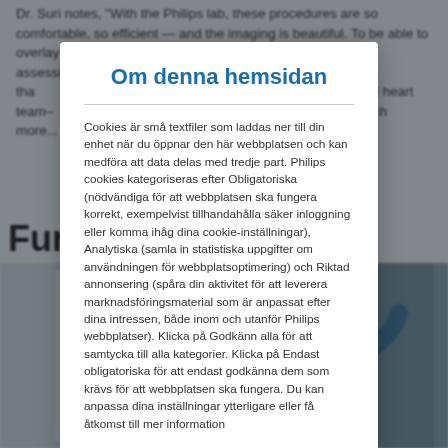Dr. Suri notes, "With the Philips lab, these procedures are so comfortable, so efficient — and the imaging is beautiful. To be able to overlay e... ...t 3D assessment... ...eryone—the fellows that... ...ectural heart team–... ...it's so much more...
Furthe...
[Figure (photo): Two medical staff photos side by side: left shows a white medical coat/gown on a hanger, right shows a healthcare professional in blue scrubs and mask]
Om denna hemsidan
Cookies är små textfiler som laddas ner till din enhet när du öppnar den här webbplatsen och kan medföra att data delas med tredje part. Philips cookies kategoriseras efter Obligatoriska (nödvändiga för att webbplatsen ska fungera korrekt, exempelvis tillhandahålla säker inloggning eller komma ihåg dina cookie-inställningar), Analytiska (samla in statistiska uppgifter om användningen för webbplatsoptimering) och Riktad annonsering (spåra din aktivitet för att leverera marknadsföringsmaterial som är anpassat efter dina intressen, både inom och utanför Philips webbplatser). Klicka på Godkänn alla för att samtycka till alla kategorier. Klicka på Endast obligatoriska för att endast godkänna dem som krävs för att webbplatsen ska fungera. Du kan anpassa dina inställningar ytterligare eller få åtkomst till mer information om hur vi använder Cookies...